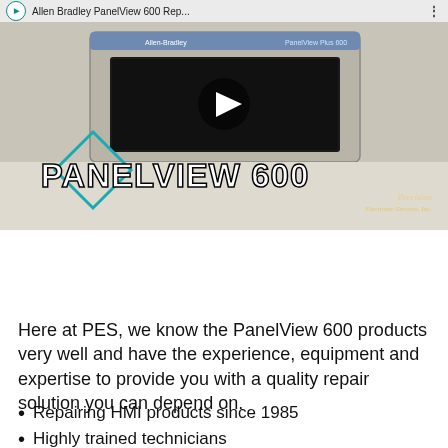[Figure (screenshot): YouTube video thumbnail for Allen Bradley PanelView 600 Repair video, showing a PanelView 600 device with a play button overlay and large white bold text 'PANELVIEW 600'. A teal diamond outline and Precision Electronic Devices Inc. watermark are visible. Below are four video thumbnails.]
Here at PES, we know the PanelView 600 products very well and have the experience, equipment and expertise to provide you with a quality repair solution you can depend on.
Repairing HMI products since 1985
Highly trained technicians
Free PanelView 600 evaluation